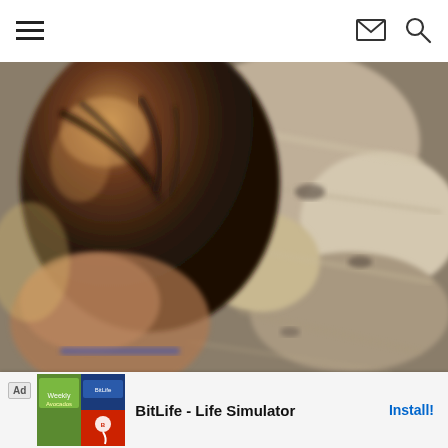Navigation header with hamburger menu, mail icon, and search icon
[Figure (photo): Close-up blurry photo showing the top of a person's head with dark hair, seemingly looking down at a rocky or sandy ground surface. The background is a blurred texture of rocks or gravel in warm tones.]
[Figure (screenshot): Advertisement banner for BitLife - Life Simulator app. Shows 'Ad' label, app screenshots, BitLife logo, app name 'BitLife - Life Simulator', and an 'Install!' button in blue text.]